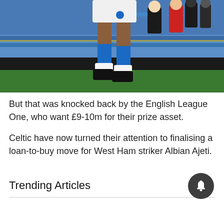[Figure (photo): A football player wearing white shorts and blue kit with blue socks and black boots, appears to be jumping or celebrating on a pitch. Stadium seats and crowd visible in background, predominantly blue seats.]
But that was knocked back by the English League One, who want £9-10m for their prize asset.
Celtic have now turned their attention to finalising a loan-to-buy move for West Ham striker Albian Ajeti.
Trending Articles